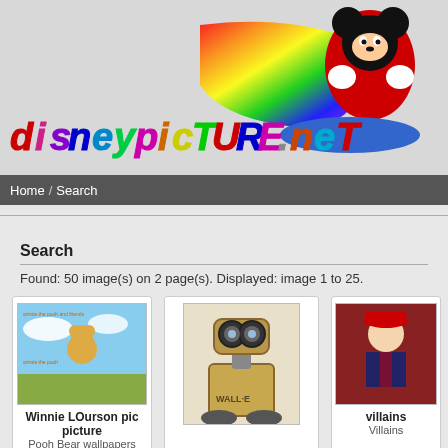[Figure (logo): DisneypPicture.net logo with colorful text and Mickey Mouse character]
Home / Search
Search
Found: 50 image(s) on 2 page(s). Displayed: image 1 to 25.
[Figure (photo): Winnie the Pooh and friends wallpaper thumbnail]
Winnie LOurson pic picture
Pooh Bear wallpapers
[Figure (photo): WALL-E robot character photo thumbnail]
[Figure (photo): Disney Villains character thumbnail]
villains
Villains